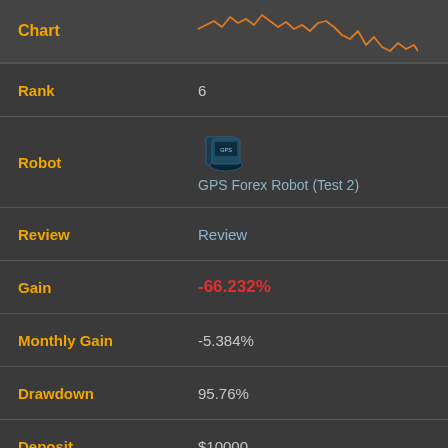[Figure (continuous-plot): Sparkline/line chart showing trading performance over time, orange line on dark background, volatile with sharp drops at the end]
| Field | Value |
| --- | --- |
| Rank | 6 |
| Robot | GPS Forex Robot (Test 2) |
| Review | Review |
| Gain | -66.232% |
| Monthly Gain | -5.384% |
| Drawdown | 95.76% |
| Deposit | $10000 |
| Balance | $1500.56 |